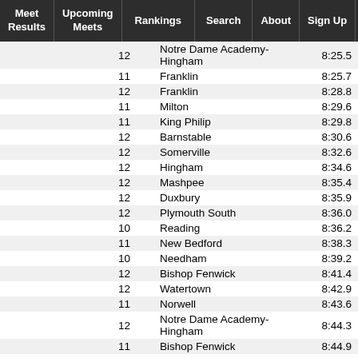Meet Results | Upcoming Meets | Rankings | Search | About | Sign Up | Log...
|  | Grade | School | Time |
| --- | --- | --- | --- |
|  | 12 | Notre Dame Academy-Hingham | 8:25.5 |
|  | 11 | Franklin | 8:25.7 |
|  | 12 | Franklin | 8:28.8 |
|  | 11 | Milton | 8:29.6 |
|  | 11 | King Philip | 8:29.8 |
|  | 12 | Barnstable | 8:30.6 |
|  | 12 | Somerville | 8:32.6 |
|  | 12 | Hingham | 8:34.6 |
|  | 12 | Mashpee | 8:35.4 |
|  | 12 | Duxbury | 8:35.9 |
|  | 12 | Plymouth South | 8:36.0 |
|  | 10 | Reading | 8:36.2 |
|  | 11 | New Bedford | 8:38.3 |
|  | 10 | Needham | 8:39.2 |
|  | 12 | Bishop Fenwick | 8:41.4 |
|  | 12 | Watertown | 8:42.9 |
|  | 11 | Norwell | 8:43.6 |
|  | 12 | Notre Dame Academy-Hingham | 8:44.3 |
|  | 11 | Bishop Fenwick | 8:44.9 |
|  | 12 | Academy of Notre Dame | 8:45.? |